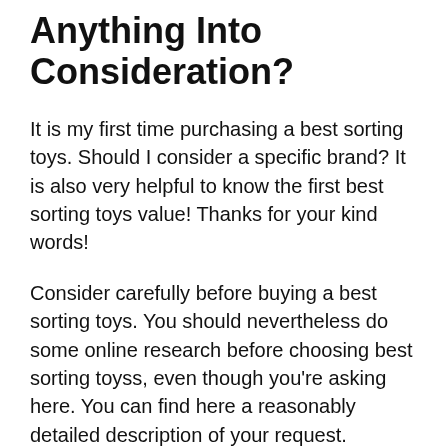Anything Into Consideration?
It is my first time purchasing a best sorting toys. Should I consider a specific brand? It is also very helpful to know the first best sorting toys value! Thanks for your kind words!
Consider carefully before buying a best sorting toys. You should nevertheless do some online research before choosing best sorting toyss, even though you're asking here. You can find here a reasonably detailed description of your request.
Is There Something I